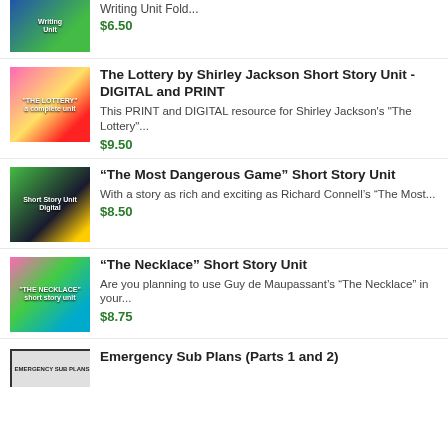[Figure (illustration): Thumbnail for a writing unit product]
Writing Unit Fold...
$6.50
[Figure (illustration): Thumbnail for The Lottery short story unit]
The Lottery by Shirley Jackson Short Story Unit - DIGITAL and PRINT
This PRINT and DIGITAL resource for Shirley Jackson's "The Lottery"...
$9.50
[Figure (illustration): Thumbnail for The Most Dangerous Game short story unit]
“The Most Dangerous Game” Short Story Unit
With a story as rich and exciting as Richard Connell’s “The Most...
$8.50
[Figure (illustration): Thumbnail for The Necklace short story unit]
“The Necklace” Short Story Unit
Are you planning to use Guy de Maupassant’s “The Necklace” in your...
$8.75
[Figure (illustration): Thumbnail for Emergency Sub Plans]
Emergency Sub Plans (Parts 1 and 2)